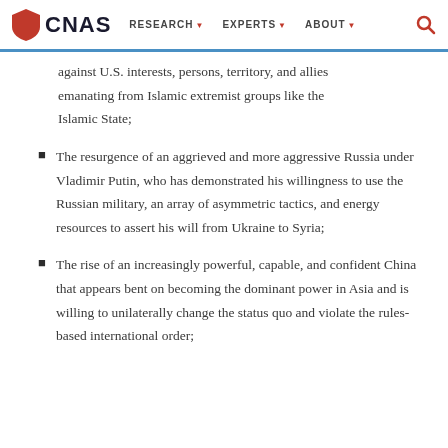CNAS  RESEARCH  EXPERTS  ABOUT
against U.S. interests, persons, territory, and allies emanating from Islamic extremist groups like the Islamic State;
The resurgence of an aggrieved and more aggressive Russia under Vladimir Putin, who has demonstrated his willingness to use the Russian military, an array of asymmetric tactics, and energy resources to assert his will from Ukraine to Syria;
The rise of an increasingly powerful, capable, and confident China that appears bent on becoming the dominant power in Asia and is willing to unilaterally change the status quo and violate the rules-based international order;